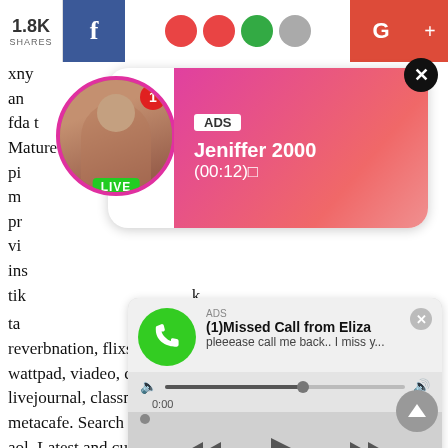1.8K SHARES | Facebook | Social icons | Google+ | +
xny an
[Figure (screenshot): Pink ad popup with female profile photo, LIVE badge, ADS label, name 'Jeniffer 2000', time '(00:12)⬜' and X close button]
fda t Mature milf Document files photos, images, pics, pi m pr vi ins tik ta
[Figure (screenshot): Audio ad popup: ADS label, '(1)Missed Call from Eliza', 'pleeease call me back.. I miss y...', audio progress bar at 0:00 / 3:23, rewind/play/forward controls]
reverbnation, flixster, goodreads, twitch, caringbridge, wattpad, viadeo, crunchyroll, skyrock, vk, myheritage, livejournal, classmates, soundcloud, bubbly, dailymotion, metacafe. Search engines google, bing, yahoo, msn, live, aol. Latest and current news. Internet cyberspace digital online ol surfing browsing browser download upload post world wide web site website http www com net org stream streaming email torrent vpn. Vlogger vlog.